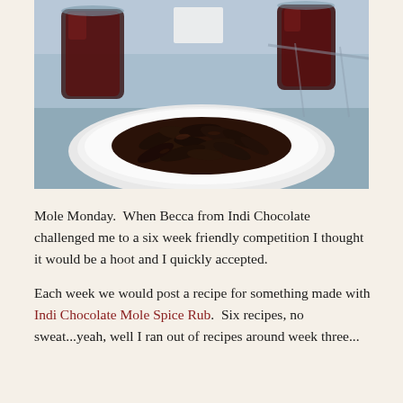[Figure (photo): A white plate piled with dark, spice-rubbed chicken wings or similar meat pieces, with two glasses of dark red liquid (wine or juice) in the background, set on an outdoor mesh table.]
Mole Monday.  When Becca from Indi Chocolate challenged me to a six week friendly competition I thought it would be a hoot and I quickly accepted.
Each week we would post a recipe for something made with Indi Chocolate Mole Spice Rub.  Six recipes, no sweat...yeah, well I ran out of recipes around week three...